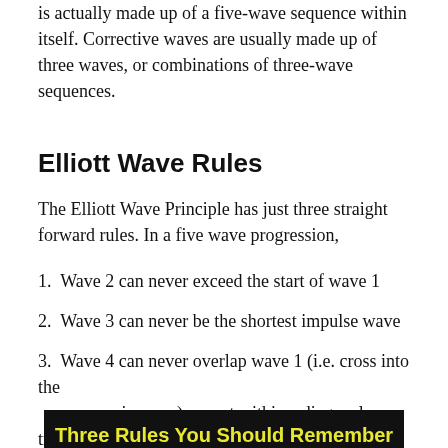is actually made up of a five-wave sequence within itself. Corrective waves are usually made up of three waves, or combinations of three-wave sequences.
Elliott Wave Rules
The Elliott Wave Principle has just three straight forward rules. In a five wave progression,
1.  Wave 2 can never exceed the start of wave 1
2.  Wave 3 can never be the shortest impulse wave
3.  Wave 4 can never overlap wave 1 (i.e. cross into the same price area) expect within a diagonal triangle.
Three Rules You Should Remember